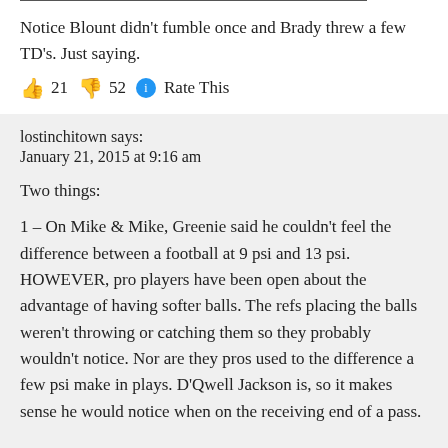Notice Blount didn't fumble once and Brady threw a few TD's. Just saying.
👍 21 👎 52 🔵 Rate This
lostinchitown says:
January 21, 2015 at 9:16 am
Two things:
1 – On Mike & Mike, Greenie said he couldn't feel the difference between a football at 9 psi and 13 psi. HOWEVER, pro players have been open about the advantage of having softer balls. The refs placing the balls weren't throwing or catching them so they probably wouldn't notice. Nor are they pros used to the difference a few psi make in plays. D'Qwell Jackson is, so it makes sense he would notice when on the receiving end of a pass.